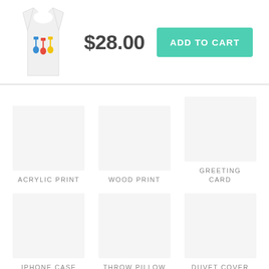[Figure (photo): White tank top with colorful guitars graphic]
$28.00
ADD TO CART
ACRYLIC PRINT
WOOD PRINT
GREETING CARD
IPHONE CASE
THROW PILLOW
DUVET COVER